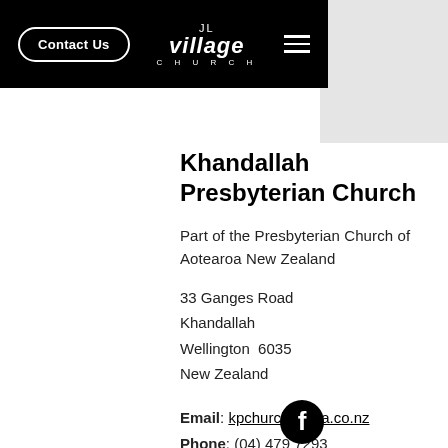Contact Us | The Village Church (navigation)
Khandallah Presbyterian Church
Part of the Presbyterian Church of Aotearoa New Zealand
33 Ganges Road
Khandallah
Wellington  6035
New Zealand
Email: kpchurch@xtra.co.nz
Phone: (04) 479 7293
[Figure (logo): Facebook icon (circular black logo with white f)]